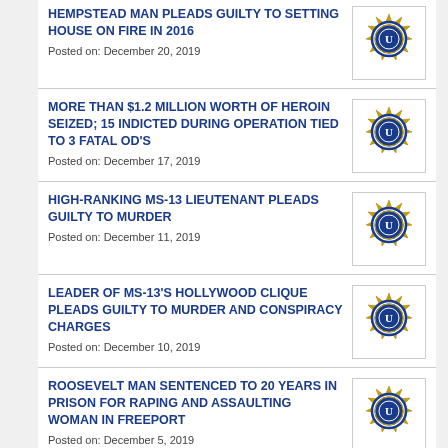HEMPSTEAD MAN PLEADS GUILTY TO SETTING HOUSE ON FIRE IN 2016
Posted on: December 20, 2019
MORE THAN $1.2 MILLION WORTH OF HEROIN SEIZED; 15 INDICTED DURING OPERATION TIED TO 3 FATAL OD'S
Posted on: December 17, 2019
HIGH-RANKING MS-13 LIEUTENANT PLEADS GUILTY TO MURDER
Posted on: December 11, 2019
LEADER OF MS-13'S HOLLYWOOD CLIQUE PLEADS GUILTY TO MURDER AND CONSPIRACY CHARGES
Posted on: December 10, 2019
ROOSEVELT MAN SENTENCED TO 20 YEARS IN PRISON FOR RAPING AND ASSAULTING WOMAN IN FREEPORT
Posted on: December 5, 2019